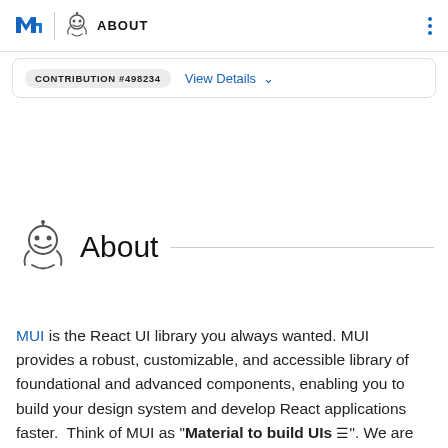MUI | ABOUT
CONTRIBUTION #498234  View Details
About
MUI is the React UI library you always wanted. MUI provides a robust, customizable, and accessible library of foundational and advanced components, enabling you to build your design system and develop React applications faster.  Think of MUI as "Material to build UIs". We are most known for Material